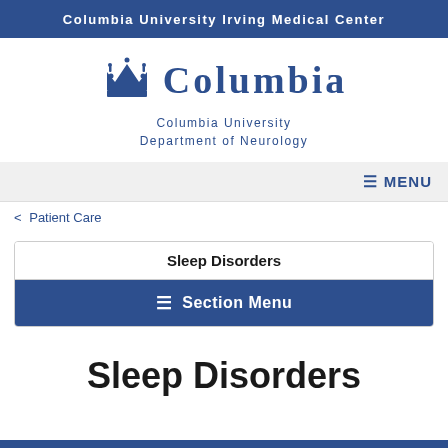Columbia University Irving Medical Center
[Figure (logo): Columbia University crown logo with 'COLUMBIA' text and 'Columbia University Department of Neurology' subtitle]
≡ MENU
< Patient Care
Sleep Disorders
≡ Section Menu
Sleep Disorders